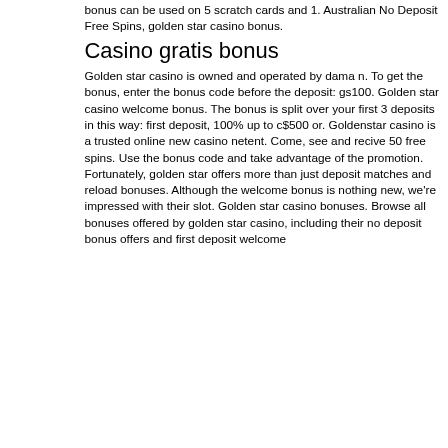bonus can be used on 5 scratch cards and 1. Australian No Deposit Free Spins, golden star casino bonus.
Casino gratis bonus
Golden star casino is owned and operated by dama n. To get the bonus, enter the bonus code before the deposit: gs100. Golden star casino welcome bonus. The bonus is split over your first 3 deposits in this way: first deposit, 100% up to c$500 or. Goldenstar casino is a trusted online new casino netent. Come, see and recive 50 free spins. Use the bonus code and take advantage of the promotion. Fortunately, golden star offers more than just deposit matches and reload bonuses. Although the welcome bonus is nothing new, we're impressed with their slot. Golden star casino bonuses. Browse all bonuses offered by golden star casino, including their no deposit bonus offers and first deposit welcome